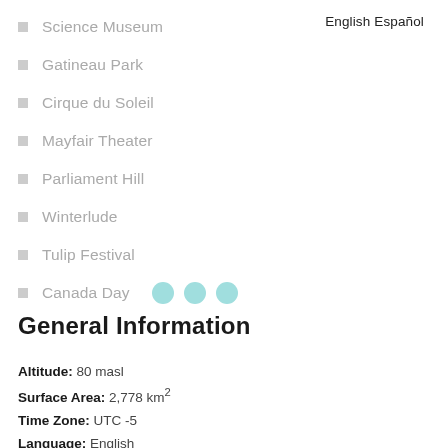English Español
Science Museum
Gatineau Park
Cirque du Soleil
Mayfair Theater
Parliament Hill
Winterlude
Tulip Festival
Canada Day
General Information
Altitude: 80 masl
Surface Area: 2,778 km²
Time Zone: UTC -5
Language: English
Currency: Canadian dollar
Voltage: 120 V